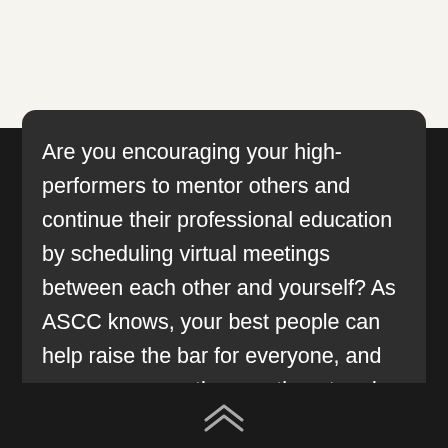Are you encouraging your high-performers to mentor others and continue their professional education by scheduling virtual meetings between each other and yourself? As ASCC knows, your best people can help raise the bar for everyone, and you can ensure they continue to raise the bar for themselves as well.
More about Shawn and his work with companies in navigating change can be found at www.shoshinconsulting.com